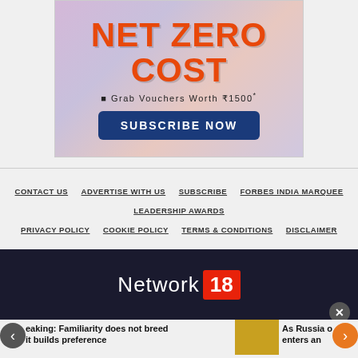[Figure (infographic): Advertisement banner with colorful gradient background showing 'NET ZERO COST' in large orange text, 'Grab Vouchers Worth ₹1500*' text, and a dark blue 'SUBSCRIBE NOW' button]
CONTACT US  ADVERTISE WITH US  SUBSCRIBE  FORBES INDIA MARQUEE LEADERSHIP AWARDS  PRIVACY POLICY  COOKIE POLICY  TERMS & CONDITIONS  DISCLAIMER
[Figure (logo): Network 18 logo on dark navy background - 'Network' in white thin text followed by '18' in white text on red badge]
eaking: Familiarity does not breed it builds preference
As Russia o enters an